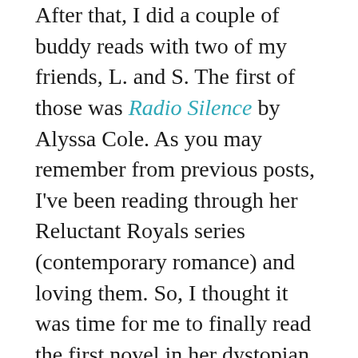After that, I did a couple of buddy reads with two of my friends, L. and S. The first of those was Radio Silence by Alyssa Cole. As you may remember from previous posts, I've been reading through her Reluctant Royals series (contemporary romance) and loving them. So, I thought it was time for me to finally read the first novel in her dystopian romance series. After all, I'm normally more of a SFF fan. I fully expected the book to be not as good as her other stuff because I'm pretty sure it was her first published book, and authors usually get better with each book. And, I can say this book met my expectations. I liked the book, but didn't love it. I probably won't continue with the series. My main complaint is just that it read like YA even though it was supposed to be an adult romance. I kept